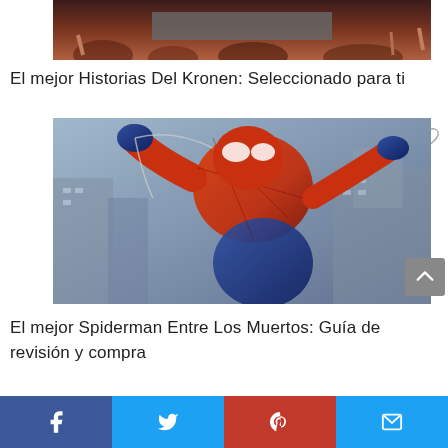[Figure (photo): Top portion of a book cover image, partially cropped, showing dark reddish crowd scene with a grey rectangular bar overlaid]
El mejor Historias Del Kronen: Seleccionado para ti
[Figure (illustration): Spider-Man comic book cover illustration showing Spider-Man in red and blue suit swinging/leaping against a city background]
El mejor Spiderman Entre Los Muertos: Guía de revisión y compra
[Figure (infographic): Social media share bar footer with Facebook, Twitter, Pinterest, and email icons]